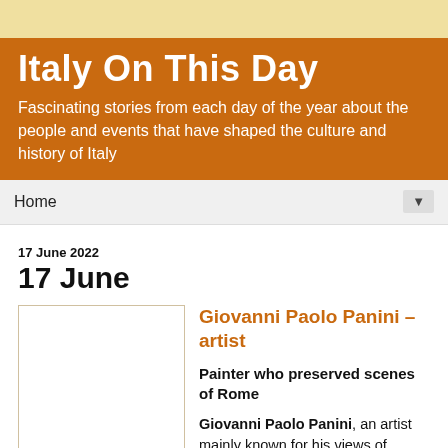Italy On This Day
Fascinating stories from each day of the year about the people and events that have shaped the culture and history of Italy
Home
17 June 2022
17 June
Giovanni Paolo Panini – artist
Painter who preserved scenes of Rome
Giovanni Paolo Panini, an artist mainly known for his views of